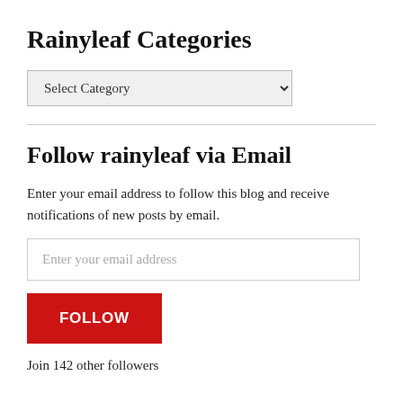Rainyleaf Categories
Select Category
Follow rainyleaf via Email
Enter your email address to follow this blog and receive notifications of new posts by email.
Enter your email address
FOLLOW
Join 142 other followers